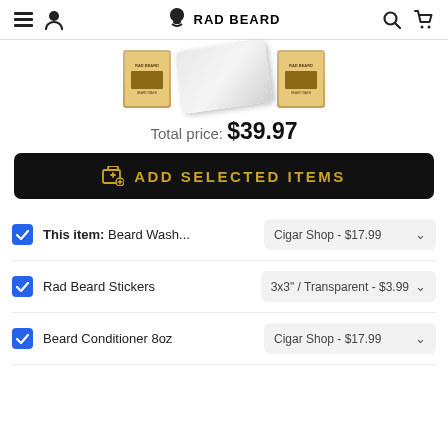RAD BEARD
[Figure (photo): Three product images: two Rad Beard product boxes on the sides, a card/sticker in the center]
Total price: $39.97
ADD SELECTED ITEMS
This item: Beard Wash... | Cigar Shop - $17.99
Rad Beard Stickers | 3x3" / Transparent - $3.99
Beard Conditioner 8oz | Cigar Shop - $17.99